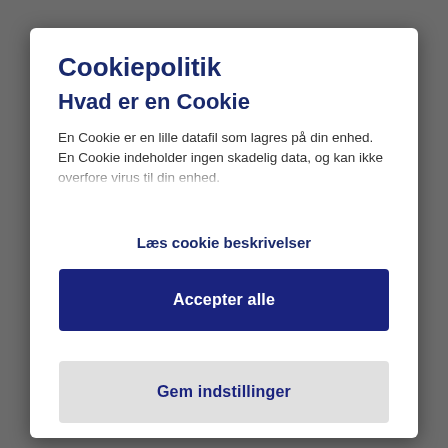Cookiepolitik
Hvad er en Cookie
En Cookie er en lille datafil som lagres på din enhed. En Cookie indeholder ingen skadelig data, og kan ikke overfore virus til din enhed.
Læs cookie beskrivelser
Accepter alle
Gem indstillinger